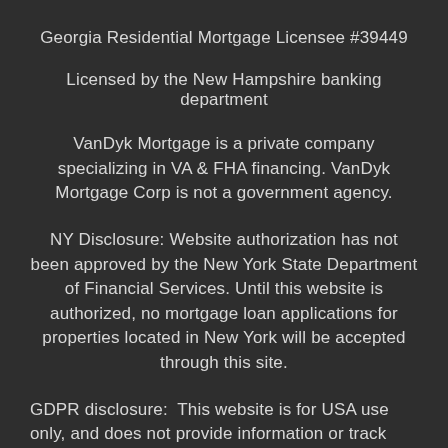Georgia Residential Mortgage Licensee #39449
Licensed by the New Hampshire banking department
VanDyk Mortgage is a private company specializing in VA & FHA financing. VanDyk Mortgage Corp is not a government agency.
NY Disclosure: Website authorization has not been approved by the New York State Department of Financial Services. Until this website is authorized, no mortgage loan applications for properties located in New York will be accepted through this site.
GDPR disclosure:  This website is for USA use only, and does not provide information or track user data from the